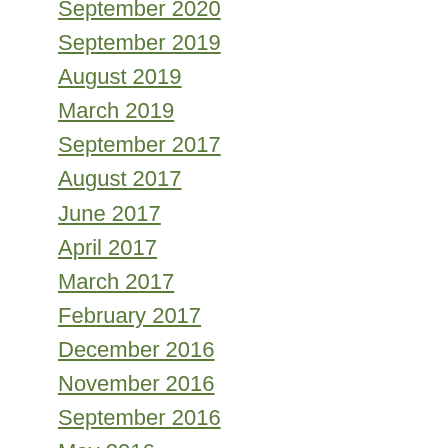September 2020
September 2019
August 2019
March 2019
September 2017
August 2017
June 2017
April 2017
March 2017
February 2017
December 2016
November 2016
September 2016
May 2016
April 2016
February 2016
January 2016
December 2015
November 2015